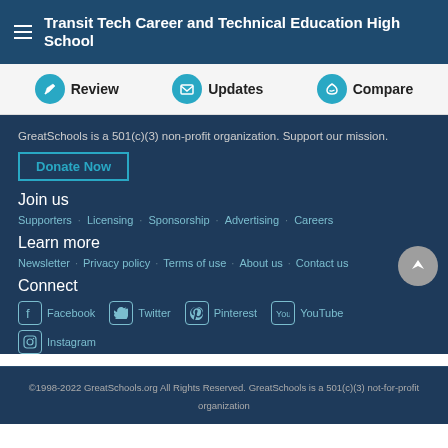Transit Tech Career and Technical Education High School
Review  Updates  Compare
GreatSchools is a 501(c)(3) non-profit organization. Support our mission.
Donate Now
Join us
Supporters   Licensing   Sponsorship   Advertising   Careers
Learn more
Newsletter   Privacy policy   Terms of use   About us   Contact us
Connect
Facebook   Twitter   Pinterest   YouTube   Instagram
©1998-2022 GreatSchools.org All Rights Reserved. GreatSchools is a 501(c)(3) not-for-profit organization